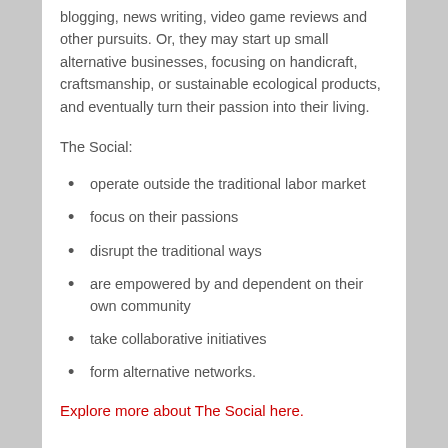blogging, news writing, video game reviews and other pursuits. Or, they may start up small alternative businesses, focusing on handicraft, craftsmanship, or sustainable ecological products, and eventually turn their passion into their living.
The Social:
operate outside the traditional labor market
focus on their passions
disrupt the traditional ways
are empowered by and dependent on their own community
take collaborative initiatives
form alternative networks.
Explore more about The Social here.